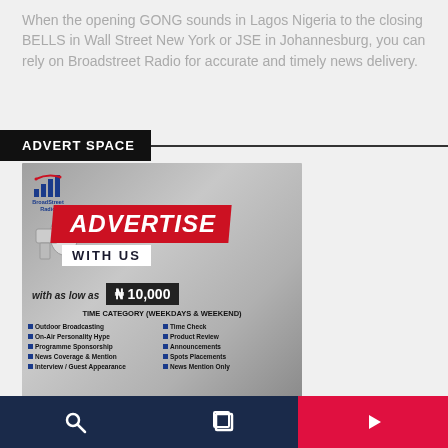When the opening GONG sounds in Lagos Nigeria to the closing BELLS in Wall Street New York or JSE in Johannesburg, you can rely on Broadstreet Radio for accurate and timely news delivery.
ADVERT SPACE
[Figure (illustration): BroadStreet Radio advertise with us promotional banner. Features a megaphone graphic, red ADVERTISE banner, WITH US text, price 'with as low as ₦10,000', TIME CATEGORY (WEEKDAYS & WEEKEND) listing: Outdoor Broadcasting, On-Air Personality Hype, Programme Sponsorship, News Coverage & Mention, Interview / Guest Appearance, Time Check, Product Review, Announcements, Spots Placements, News Mention Only, TERMS & CONDITIONS APPLY]
🔍  ⬜  ▷